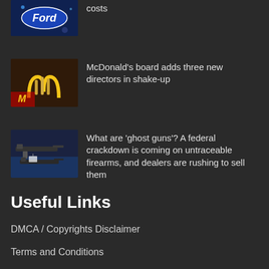costs
McDonald’s board adds three new directors in shake-up
What are ‘ghost guns’? A federal crackdown is coming on untraceable firearms, and dealers are rushing to sell them
Useful Links
DMCA / Copyrights Disclaimer
Terms and Conditions
Whitelist Us
Privacy Policy